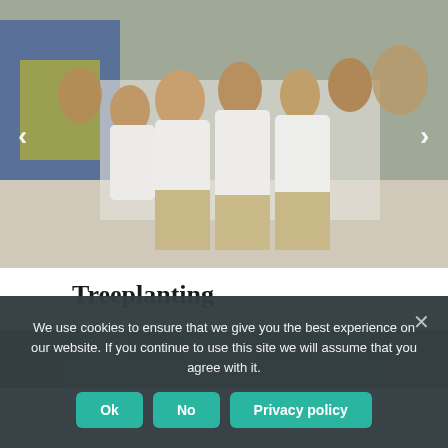[Figure (photo): Large group of school children in uniforms sitting on the floor, some in white shirts and khaki pants, some in blue and yellow uniforms, attending an event indoors. Carousel navigation arrows visible on left and right sides.]
Treeplanting
[Figure (photo): Partial view of a treeplanting event photograph showing green trees/foliage, with grey bars on either side indicating a carousel slider.]
We use cookies to ensure that we give you the best experience on our website. If you continue to use this site we will assume that you agree with it.